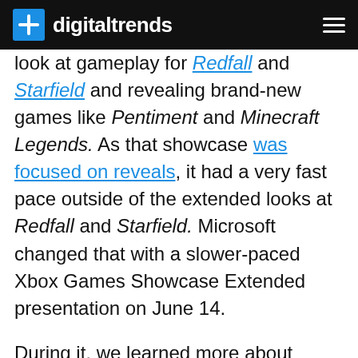digitaltrends
look at gameplay for Redfall and Starfield and revealing brand-new games like Pentiment and Minecraft Legends. As that showcase was focused on reveals, it had a very fast pace outside of the extended looks at Redfall and Starfield. Microsoft changed that with a slower-paced Xbox Games Showcase Extended presentation on June 14.

During it, we learned more about some of the games that we saw on Sunday, and